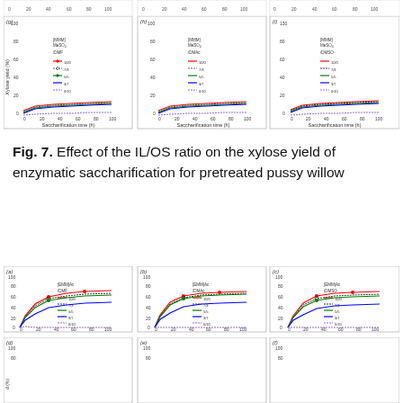[Figure (line-chart): Three line charts (g, h, i) showing xylose yield for [MMM]MeSO4 with DMF, DMAc, DMSO cosolvents at various IL/OS ratios]
Fig. 7. Effect of the IL/OS ratio on the xylose yield of enzymatic saccharification for pretreated pussy willow
[Figure (line-chart): Six line charts (a-f) showing xylose yield for [EMM]Ac with DMF, DMAc, DMSO cosolvents at various IL/OS ratios]